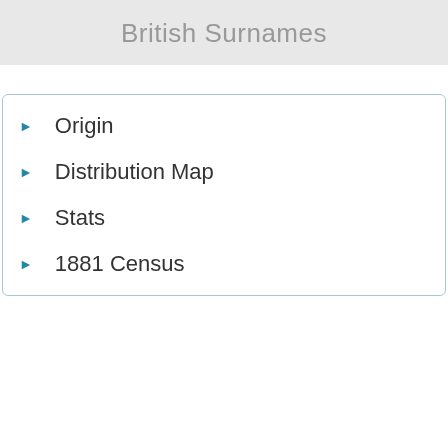British Surnames
Origin
Distribution Map
Stats
1881 Census